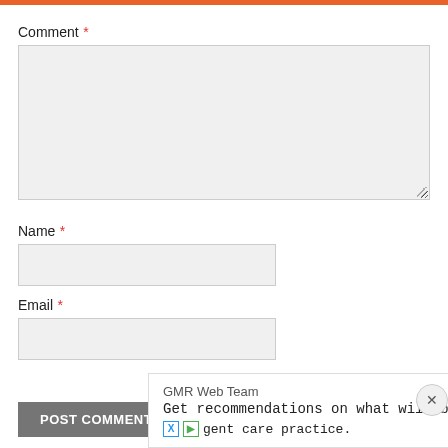Comment *
[Figure (screenshot): Comment textarea input field (empty, light gray background)]
Name *
[Figure (screenshot): Name text input field (empty, light gray background)]
Email *
[Figure (screenshot): Email text input field (empty, light gray background)]
POST COMMENT
SEARCH
GMR Web Team
Get recommendations on what will be best for y
ent care practice.